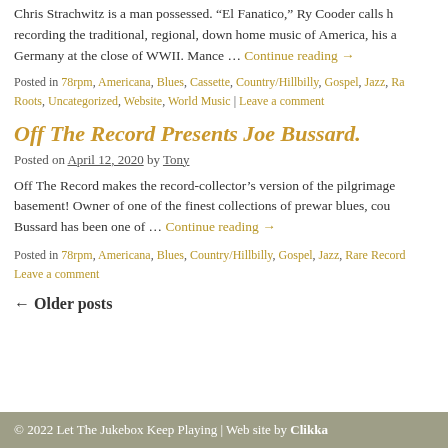Chris Strachwitz is a man possessed. “El Fanatico,” Ry Cooder calls him. Dedicated to recording the traditional, regional, down home music of America, his a … Continue reading →
Posted in 78rpm, Americana, Blues, Cassette, Country/Hillbilly, Gospel, Jazz, Ra… Roots, Uncategorized, Website, World Music | Leave a comment
Off The Record Presents Joe Bussard.
Posted on April 12, 2020 by Tony
Off The Record makes the record-collector’s version of the pilgrimage basement! Owner of one of the finest collections of prewar blues, cou… Bussard has been one of … Continue reading →
Posted in 78rpm, Americana, Blues, Country/Hillbilly, Gospel, Jazz, Rare Records… Leave a comment
← Older posts
© 2022 Let The Jukebox Keep Playing | Web site by Clikka